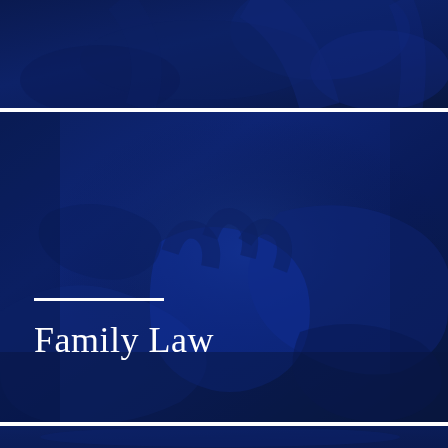[Figure (photo): Dark blue-tinted photo panel at the top of the page, showing partial view of hands, dark navy overlay]
[Figure (photo): Large dark blue-tinted photo of hands clasped together, child's hand held by adult hands, with dark navy blue color overlay. White horizontal rule and 'Family Law' text overlaid in lower left.]
Family Law
[Figure (photo): Dark blue-tinted partial photo panel at the bottom of the page, dark navy overlay]